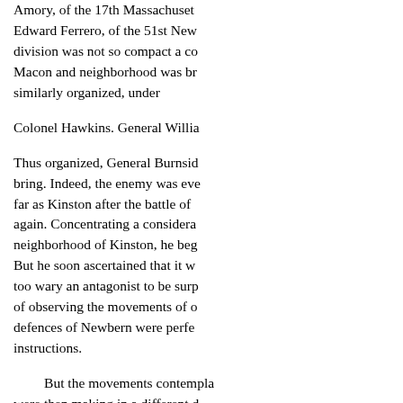Amory, of the 17th Massachusetts; Edward Ferrero, of the 51st New [York;] division was not so compact a co[mmand.] Macon and neighborhood was br[ought] similarly organized, under
Colonel Hawkins. General Willia[m]
Thus organized, General Burnsid[e] bring. Indeed, the enemy was eve[r] far as Kinston after the battle of [New] again. Concentrating a considera[ble] neighborhood of Kinston, he beg[an] But he soon ascertained that it w[as] too wary an antagonist to be surp[rised.] of observing the movements of o[ur] defences of Newbern were perfe[ct] instructions.
But the movements contempla[ted] were then making in a different d[irection.] unquestionably have been a very [important] river, and its approaches were the[refore] seaboard communications uniting[,] blockade, and it thus became the[ir] possession of that point, the ene[my]